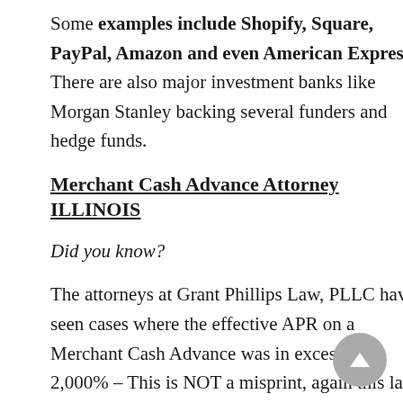Some examples include Shopify, Square, PayPal, Amazon and even American Express. There are also major investment banks like Morgan Stanley backing several funders and hedge funds.
Merchant Cash Advance Attorney ILLINOIS
Did you know?
The attorneys at Grant Phillips Law, PLLC have seen cases where the effective APR on a Merchant Cash Advance was in excess of 2,000% – This is NOT a misprint, again this law firm has seen several Merchant Cash Advance Contracts with an effective APR of 2,000%...